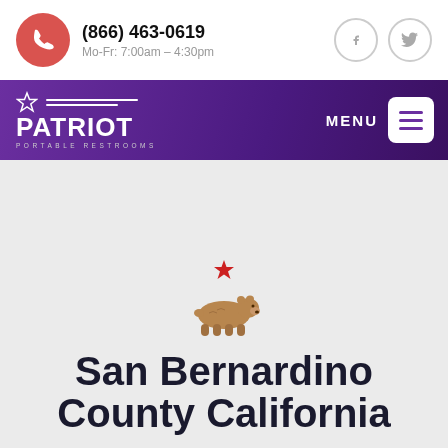(866) 463-0619
Mo-Fr: 7:00am – 4:30pm
[Figure (logo): Patriot Portable Restrooms logo with star, horizontal lines, and text on purple gradient background]
[Figure (illustration): California Republic grizzly bear silhouette with red star above, in brown/tan color]
San Bernardino County California